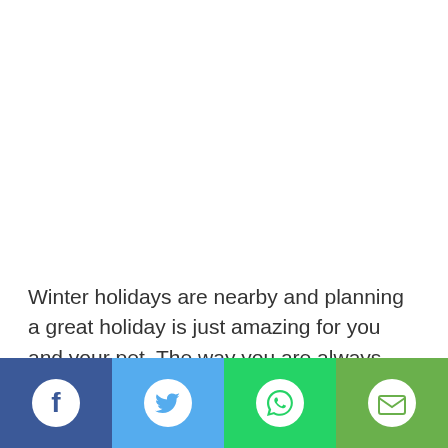Winter holidays are nearby and planning a great holiday is just amazing for you and your pet. The way you are always excited for a Vacation and Holiday; your pets also look forward to the fun and adventure you plan for them.
[Figure (infographic): Social media sharing bar with four buttons: Facebook (dark blue), Twitter (light blue), WhatsApp (green), Email (lime green)]